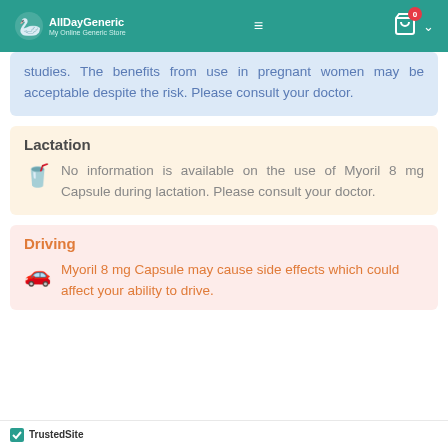AllDayGeneric — My Online Generic Store
studies. The benefits from use in pregnant women may be acceptable despite the risk. Please consult your doctor.
Lactation
No information is available on the use of Myoril 8 mg Capsule during lactation. Please consult your doctor.
Driving
Myoril 8 mg Capsule may cause side effects which could affect your ability to drive.
TrustedSite